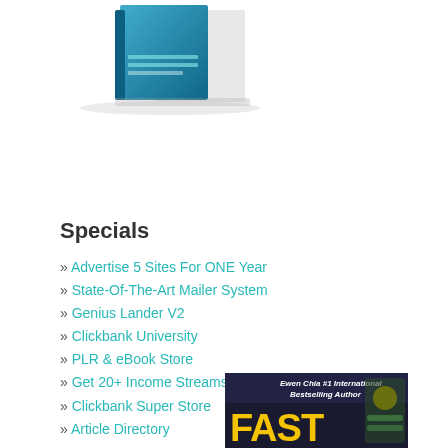[Figure (photo): A book with a blue cover related to web marketing, partially visible at the top of the page]
Specials
» Advertise 5 Sites For ONE Year
» State-Of-The-Art Mailer System
» Genius Lander V2
» Clickbank University
» PLR & eBook Store
» Get 20+ Income Streams
» Clickbank Super Store
» Article Directory
[Figure (photo): Ewen Chia #1 International Bestselling Author book/product advertisement banner at bottom of page, showing the word FAST in large yellow letters]